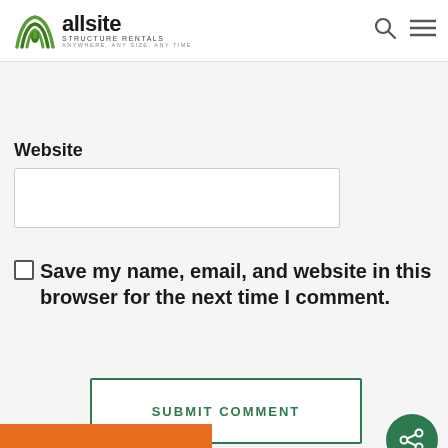allsite STRUCTURE RENTALS — ANYWHERE. ANY SIZE. ANY TIME.
Email *
Website
Save my name, email, and website in this browser for the next time I comment.
SUBMIT COMMENT
Request A Quote
Privacy · Terms